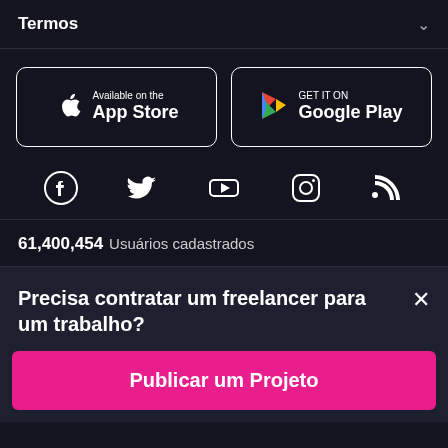Termos
[Figure (logo): Available on the App Store button with Apple logo]
[Figure (logo): GET IT ON Google Play button with Play Store logo]
[Figure (infographic): Social media icons: Facebook, Twitter, YouTube, Instagram, RSS]
61,400,454 Usuários cadastrados
Precisa contratar um freelancer para um trabalho?
Publicar um Projeto